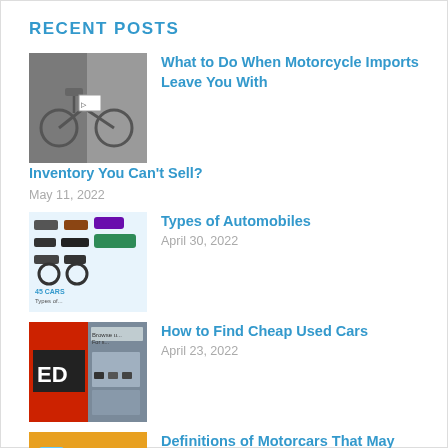RECENT POSTS
What to Do When Motorcycle Imports Leave You With Inventory You Can't Sell? — May 11, 2022
Types of Automobiles — April 30, 2022
How to Find Cheap Used Cars — April 23, 2022
Definitions of Motorcars That May…